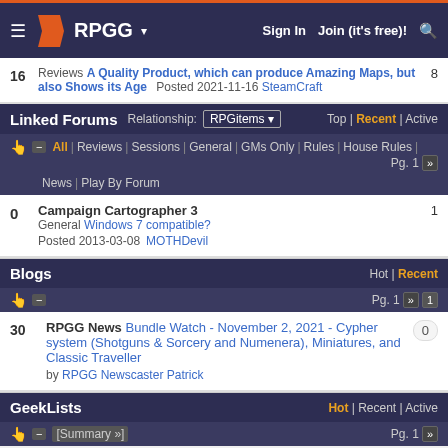RPGG | Sign In | Join (it's free)!
16 Reviews A Quality Product, which can produce Amazing Maps, but also Shows its Age Posted 2021-11-16 SteamCraft 8
Linked Forums Relationship: RPGitems Top | Recent | Active
All | Reviews | Sessions | General | GMs Only | Rules | House Rules | News | Play By Forum Pg. 1
0 Campaign Cartographer 3 General Windows 7 compatible? Posted 2013-03-08 MOTHDevil 1
Blogs Hot | Recent
Pg. 1
30 RPGG News Bundle Watch - November 2, 2021 - Cypher system (Shotguns & Sorcery and Numenera), Miniatures, and Classic Traveller by RPGG Newscaster Patrick 0
GeekLists Hot | Recent | Active
[Summary »] Pg. 1
No lists found